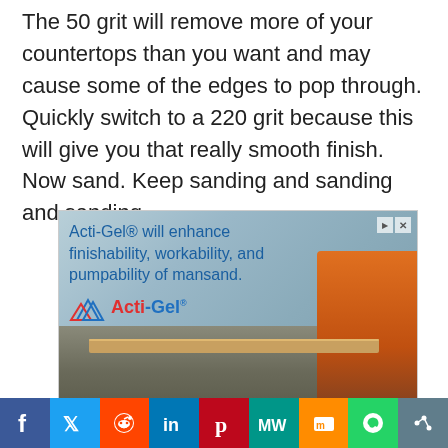The 50 grit will remove more of your countertops than you want and may cause some of the edges to pop through. Quickly switch to a 220 grit because this will give you that really smooth finish. Now sand. Keep sanding and sanding and sanding.
[Figure (photo): Advertisement banner for Acti-Gel® product showing text 'Acti-Gel® will enhance finishability, workability, and pumpability of mansand.' with Acti-Gel logo and background photo of a worker in orange shirt spreading concrete/sand with a board.]
[Figure (infographic): Social sharing bar with icons for Facebook, Twitter, Reddit, LinkedIn, Pinterest, MixedWrench (MW), Mix, WhatsApp, and a share icon.]